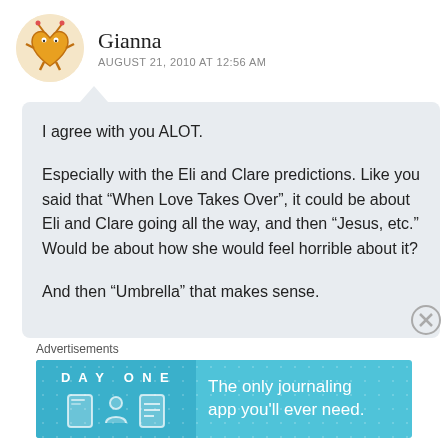[Figure (illustration): Cartoon avatar of a yellow heart character with arms and legs, resembling a robot/character icon, circular avatar]
Gianna
AUGUST 21, 2010 AT 12:56 AM
I agree with you ALOT.

Especially with the Eli and Clare predictions. Like you said that “When Love Takes Over”, it could be about Eli and Clare going all the way, and then “Jesus, etc.” Would be about how she would feel horrible about it?

And then “Umbrella” that makes sense.
Advertisements
[Figure (illustration): DayOne app advertisement banner: blue background with dot pattern, DayOne logo/icons on left, text 'The only journaling app you'll ever need.' on right]